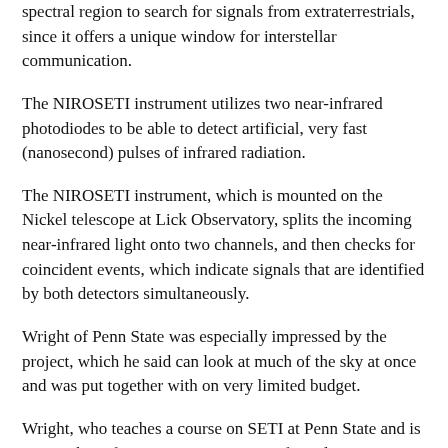spectral region to search for signals from extraterrestrials, since it offers a unique window for interstellar communication.
The NIROSETI instrument utilizes two near-infrared photodiodes to be able to detect artificial, very fast (nanosecond) pulses of infrared radiation.
The NIROSETI instrument, which is mounted on the Nickel telescope at Lick Observatory, splits the incoming near-infrared light onto two channels, and then checks for coincident events, which indicate signals that are identified by both detectors simultaneously.
Wright of Penn State was especially impressed by the project, which he said can look at much of the sky at once and was put together with on very limited budget.
Wright, who teaches a course on SETI at Penn State and is a co-author of a recent paper trying to formalize SETI terminology, said his own take-away from the conference is that it may well represent an important and positive moment in the history of